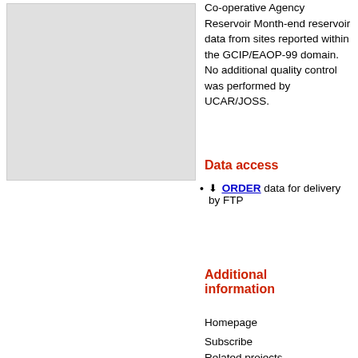[Figure (other): Gray placeholder image box on the left side of the page]
Co-operative Agency Reservoir Month-end reservoir data from sites reported within the GCIP/EAOP-99 domain. No additional quality control was performed by UCAR/JOSS.
Data access
ORDER data for delivery by FTP
Additional information
Homepage
Subscribe
Related projects